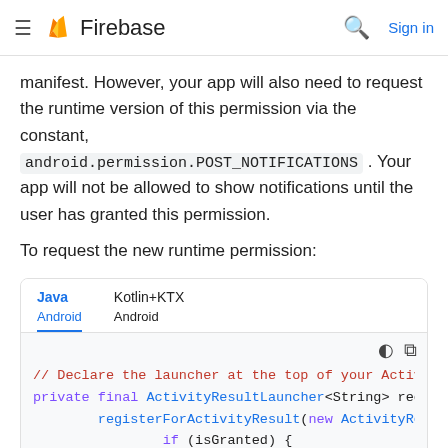Firebase
manifest. However, your app will also need to request the runtime version of this permission via the constant, android.permission.POST_NOTIFICATIONS . Your app will not be allowed to show notifications until the user has granted this permission.
To request the new runtime permission:
[Figure (screenshot): Code block with Java/Kotlin+KTX tabs (Android sub-tabs), showing Java Android code: // Declare the launcher at the top of your Activi  private final ActivityResultLauncher<String> requ  registerForActivityResult(new ActivityRes  if (isGranted) {  // FCM SDK (and your app) can pos  } else {  // TODO: Inform user that that yo  }]